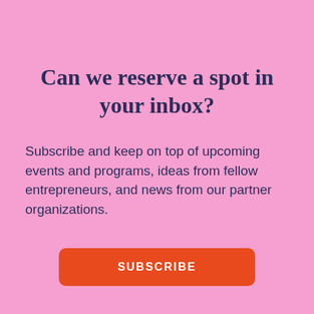Can we reserve a spot in your inbox?
Subscribe and keep on top of upcoming events and programs, ideas from fellow entrepreneurs, and news from our partner organizations.
SUBSCRIBE